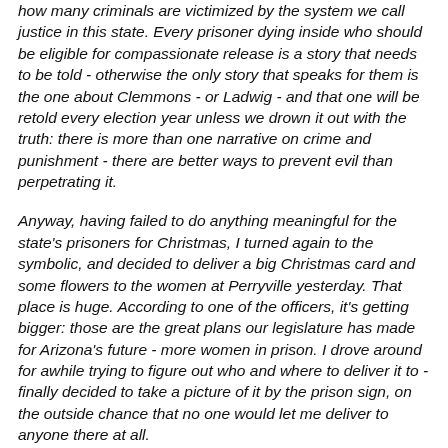how many criminals are victimized by the system we call justice in this state. Every prisoner dying inside who should be eligible for compassionate release is a story that needs to be told - otherwise the only story that speaks for them is the one about Clemmons - or Ladwig - and that one will be retold every election year unless we drown it out with the truth: there is more than one narrative on crime and punishment - there are better ways to prevent evil than perpetrating it.
Anyway, having failed to do anything meaningful for the state's prisoners for Christmas, I turned again to the symbolic, and decided to deliver a big Christmas card and some flowers to the women at Perryville yesterday. That place is huge. According to one of the officers, it's getting bigger: those are the great plans our legislature has made for Arizona's future - more women in prison. I drove around for awhile trying to figure out who and where to deliver it to - finally decided to take a picture of it by the prison sign, on the outside chance that no one would let me deliver to anyone there at all.
I was right, though. It turns out I was with there as if by an absurdity...